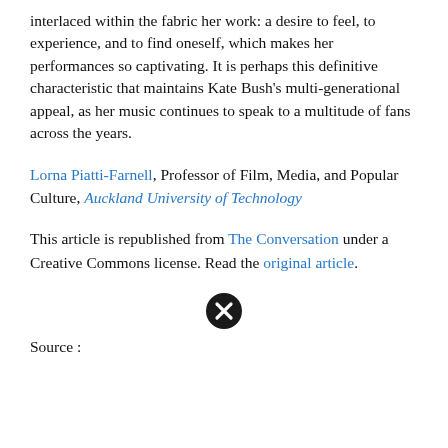interlaced within the fabric her work: a desire to feel, to experience, and to find oneself, which makes her performances so captivating. It is perhaps this definitive characteristic that maintains Kate Bush's multi-generational appeal, as her music continues to speak to a multitude of fans across the years.
Lorna Piatti-Farnell, Professor of Film, Media, and Popular Culture, Auckland University of Technology
This article is republished from The Conversation under a Creative Commons license. Read the original article.
[Figure (other): A close button icon — black circle with white X]
Source :